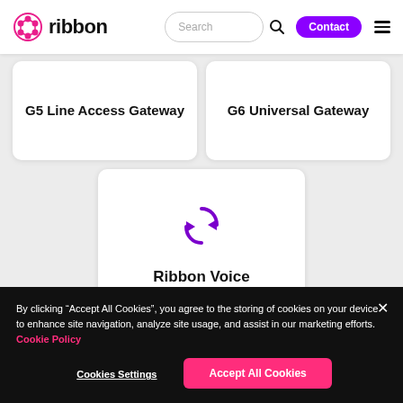[Figure (screenshot): Ribbon Communications website navigation bar with logo, search bar, Contact button, and hamburger menu]
G5 Line Access Gateway
G6 Universal Gateway
[Figure (illustration): Purple circular sync/refresh icon with two arrows]
Ribbon Voice
By clicking “Accept All Cookies”, you agree to the storing of cookies on your device to enhance site navigation, analyze site usage, and assist in our marketing efforts. Cookie Policy
Cookies Settings
Accept All Cookies